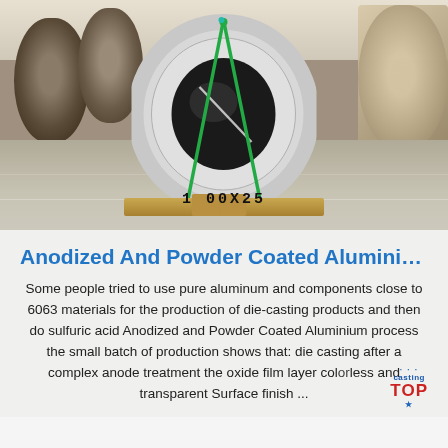[Figure (photo): Warehouse interior showing large aluminum coils on pallets. A large white aluminum coil is centered in the foreground on a wooden pallet with green straps, labeled '1 00X25'. Multiple similar coils are visible in the background on pallets.]
Anodized And Powder Coated Aluminium I...
Some people tried to use pure aluminum and components close to 6063 materials for the production of die-casting products and then do sulfuric acid Anodized and Powder Coated Aluminium process the small batch of production shows that: die casting after a complex anode treatment the oxide film layer colorless and transparent Surface finish ...